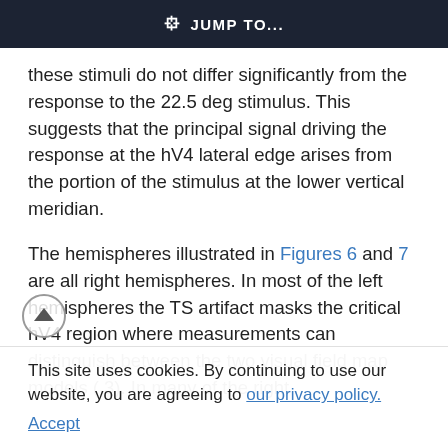JUMP TO...
these stimuli do not differ significantly from the response to the 22.5 deg stimulus. This suggests that the principal signal driving the response at the hV4 lateral edge arises from the portion of the stimulus at the lower vertical meridian.
The hemispheres illustrated in Figures 6 and 7 are all right hemispheres. In most of the left hemispheres the TS artifact masks the critical hV4 region where measurements can distinguish between the two visual field map models ( 3). In many of the right
This site uses cookies. By continuing to use our website, you are agreeing to our privacy policy.
Accept